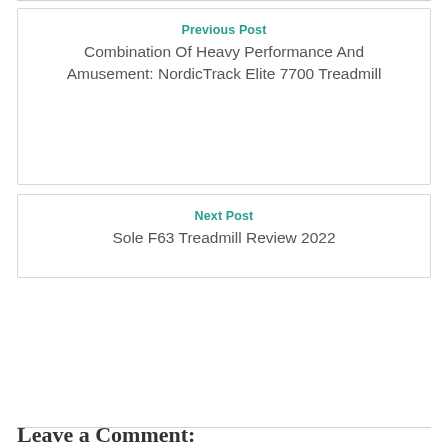Previous Post
Combination Of Heavy Performance And Amusement: NordicTrack Elite 7700 Treadmill
Next Post
Sole F63 Treadmill Review 2022
Leave a Comment: